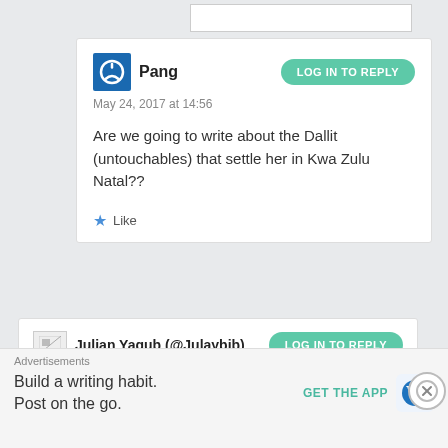Pang
May 24, 2017 at 14:56
Are we going to write about the Dallit (untouchables) that settle her in Kwa Zulu Natal??
Like
Julian Yaqub (@Julaybib)
May 19, 2016 at 15:35
Advertisements
Build a writing habit. Post on the go.
GET THE APP